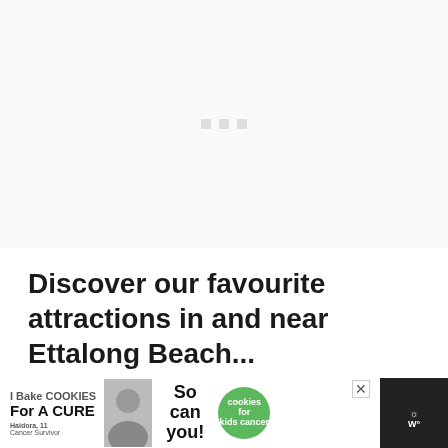[Figure (other): Loading placeholder area with three small grey square dots centered in a light grey rectangle]
Discover our favourite attractions in and near Ettalong Beach...
Best of Central Coast Australia
[Figure (other): Advertisement banner: 'I Bake COOKIES For A CURE - Haidora, 11 Cancer Survivor - So can you! cookies for kids cancer' with close button and weather icon]